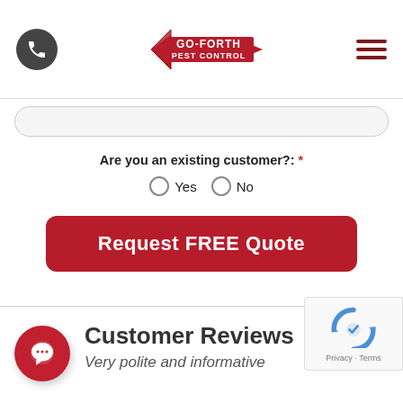[Figure (logo): Go-Forth Pest Control logo with arrow design and phone icon and hamburger menu in header]
[Figure (other): Search bar input field]
Are you an existing customer?: *
Yes   No (radio buttons)
Request FREE Quote
Customer Reviews
Very polite and informative
[Figure (other): reCAPTCHA widget with Privacy and Terms text]